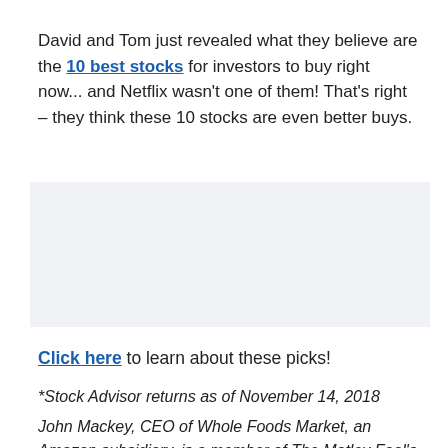David and Tom just revealed what they believe are the 10 best stocks for investors to buy right now... and Netflix wasn't one of them! That's right – they think these 10 stocks are even better buys.
[Figure (other): Gray/light blue advertisement placeholder box]
Click here to learn about these picks!
*Stock Advisor returns as of November 14, 2018
John Mackey, CEO of Whole Foods Market, an Amazon subsidiary, is a member of The Motley Fool's board of directors. Rich Smith has no position in any of the stocks mentioned. The Motley Fool owns shares of and